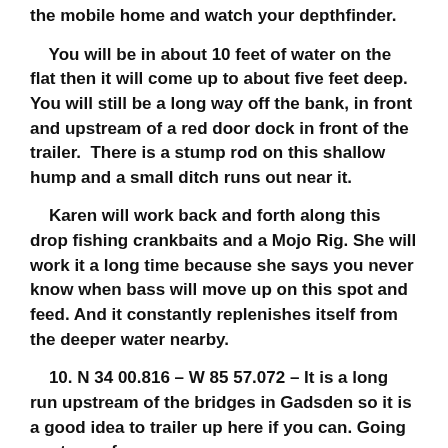the mobile home and watch your depthfinder.
You will be in about 10 feet of water on the flat then it will come up to about five feet deep. You will still be a long way off the bank, in front and upstream of a red door dock in front of the trailer.  There is a stump rod on this shallow hump and a small ditch runs out near it.
Karen will work back and forth along this drop fishing crankbaits and a Mojo Rig. She will work it a long time because she says you never know when bass will move up on this spot and feed. And it constantly replenishes itself from the deeper water nearby.
10. N 34 00.816 – W 85 57.072 – It is a long run upstream of the bridges in Gadsden so it is a good idea to trailer up here if you can. Going upstream from